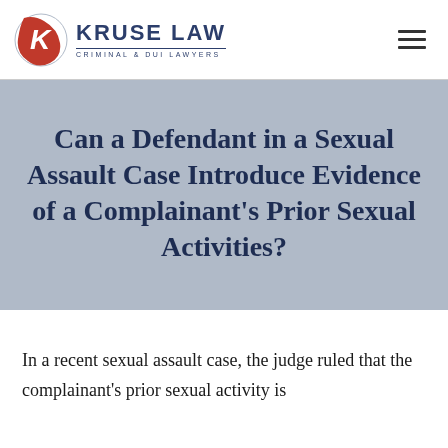[Figure (logo): Kruse Law logo with red K icon and text 'KRUSE LAW CRIMINAL & DUI LAWYERS']
Can a Defendant in a Sexual Assault Case Introduce Evidence of a Complainant's Prior Sexual Activities?
In a recent sexual assault case, the judge ruled that the complainant's prior sexual activity is